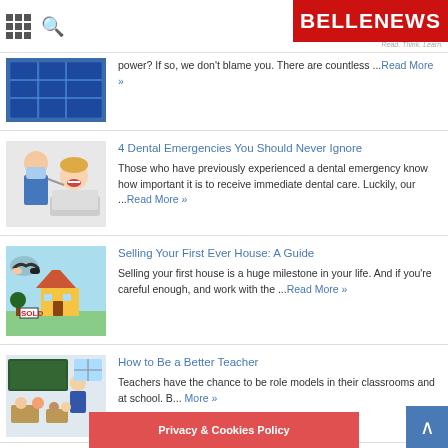BELLE NEWS - Read. Think. Learn.
[Figure (photo): Solar panels]
power? If so, we don't blame you. There are countless ...Read More »
4 Dental Emergencies You Should Never Ignore
[Figure (photo): Dentist treating patient]
Those who have previously experienced a dental emergency know how important it is to receive immediate dental care. Luckily, our ...Read More »
Selling Your First Ever House: A Guide
[Figure (illustration): House sale illustration with handshake and sold sign]
Selling your first house is a huge milestone in your life. And if you're careful enough, and work with the ...Read More »
How to Be a Better Teacher
[Figure (photo): Classroom with teacher and students]
Teachers have the chance to be role models in their classrooms and at school. B... More »
Privacy & Cookies Policy